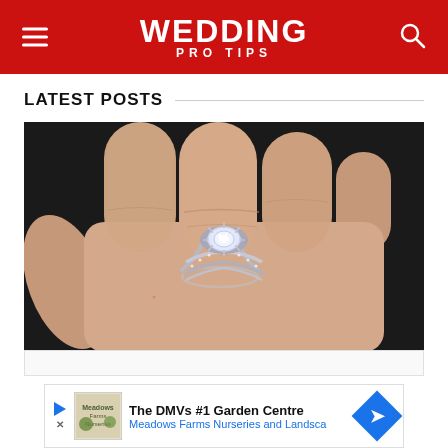WEDDING PRO TIPS
LATEST POSTS
[Figure (photo): Close-up photo of a hand wearing an ornate diamond engagement ring with a twisted band design, photographed against a dark background.]
The DMVs #1 Garden Centre — Meadows Farms Nurseries and Landsca…